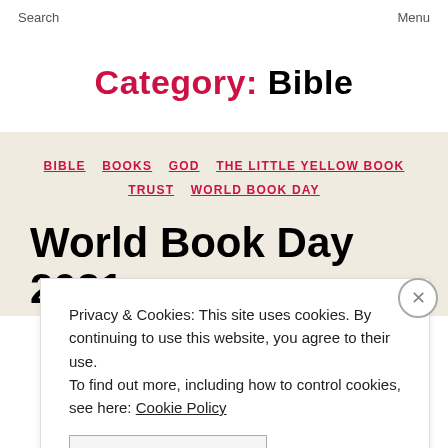Search    Menu
Category: Bible
BIBLE   BOOKS   GOD   THE LITTLE YELLOW BOOK   TRUST   WORLD BOOK DAY
World Book Day 2021
Privacy & Cookies: This site uses cookies. By continuing to use this website, you agree to their use. To find out more, including how to control cookies, see here: Cookie Policy
CLOSE AND ACCEPT